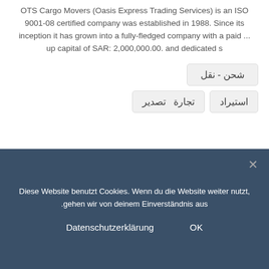OTS Cargo Movers (Oasis Express Trading Services) is an ISO 9001-08 certified company was established in 1988. Since its inception it has grown into a fully-fledged company with a paid ... up capital of SAR: 2,000,000.00. and dedicated s
شحن - نقل
استيراد
تجارة  تصدير
[Figure (logo): Afnan Alswaik Intl LLC logo with fruit graphic]
Afnan Alswaik Intl LLC
Diese Website benutzt Cookies. Wenn du die Website weiter nutzt, gehen wir von deinem Einverständnis aus.
Datenschutzerklärung      OK